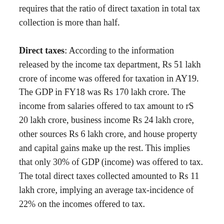requires that the ratio of direct taxation in total tax collection is more than half.
Direct taxes: According to the information released by the income tax department, Rs 51 lakh crore of income was offered for taxation in AY19. The GDP in FY18 was Rs 170 lakh crore. The income from salaries offered to tax amount to rS 20 lakh crore, business income Rs 24 lakh crore, other sources Rs 6 lakh crore, and house property and capital gains make up the rest. This implies that only 30% of GDP (income) was offered to tax. The total direct taxes collected amounted to Rs 11 lakh crore, implying an average tax-incidence of 22% on the incomes offered to tax.
We know that only around 5% of citizens are registered to pay tax. From the above, we observe